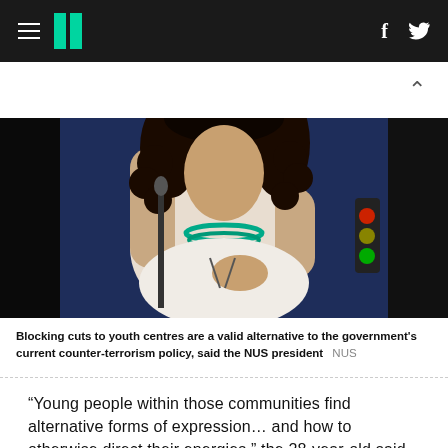HuffPost navigation with hamburger menu, logo, facebook and twitter icons
[Figure (photo): A woman with curly dark hair wearing a white top and teal beaded necklace, speaking at a podium or event, dark blue background, traffic light signal visible on the right]
Blocking cuts to youth centres are a valid alternative to the government's current counter-terrorism policy, said the NUS president  NUS
“Young people within those communities find alternative forms of expression… and how to otherwise direct their energies,” the 28-year-old said.